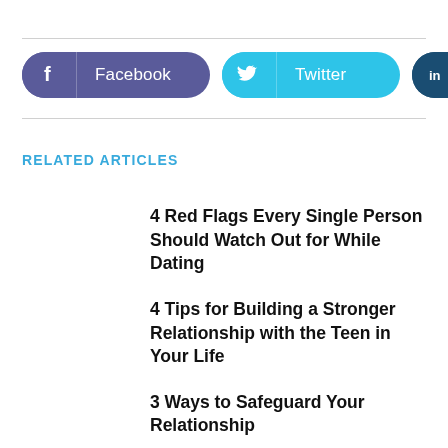[Figure (infographic): Social share buttons: Facebook (purple), Twitter (cyan), Linkedin (dark blue)]
RELATED ARTICLES
4 Red Flags Every Single Person Should Watch Out for While Dating
4 Tips for Building a Stronger Relationship with the Teen in Your Life
3 Ways to Safeguard Your Relationship